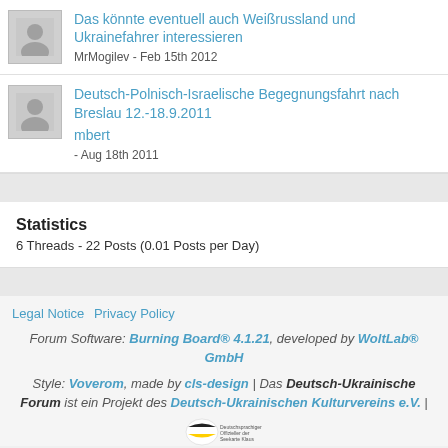Das könnte eventuell auch Weißrussland und Ukrainefahrer interessieren
MrMogilev - Feb 15th 2012
Deutsch-Polnisch-Israelische Begegnungsfahrt nach Breslau 12.-18.9.2011
mbert - Aug 18th 2011
Statistics
6 Threads - 22 Posts (0.01 Posts per Day)
Legal Notice  Privacy Policy
Forum Software: Burning Board® 4.1.21, developed by WoltLab® GmbH
Style: Voverom, made by cls-design | Das Deutsch-Ukrainische Forum ist ein Projekt des Deutsch-Ukrainischen Kulturvereins e.V. |